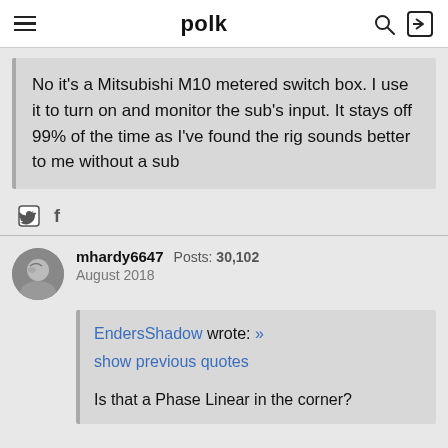polk
No it's a Mitsubishi M10 metered switch box. I use it to turn on and monitor the sub's input. It stays off 99% of the time as I've found the rig sounds better to me without a sub
mhardy6647  Posts: 30,102  August 2018
EndersShadow wrote: »
show previous quotes

Is that a Phase Linear in the corner?